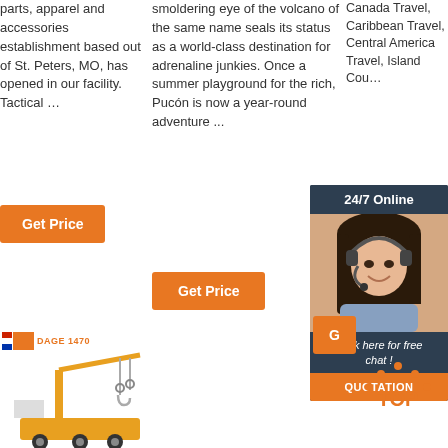parts, apparel and accessories establishment based out of St. Peters, MO, has opened in our facility. Tactical …
Get Price
smoldering eye of the volcano of the same name seals its status as a world-class destination for adrenaline junkies. Once a summer playground for the rich, Pucón is now a year-round adventure ...
Get Price
Canada Travel, Caribbean Travel, Central America Travel, Island Cou…
[Figure (photo): 24/7 Online customer support widget with a woman wearing a headset, dark background, 'Click here for free chat!' text, and QUOTATION button]
[Figure (logo): Company logo with flag-like icon and text]
[Figure (illustration): Construction crane illustration on lower left]
[Figure (infographic): Orange dotted arch with TOP text - back to top button]